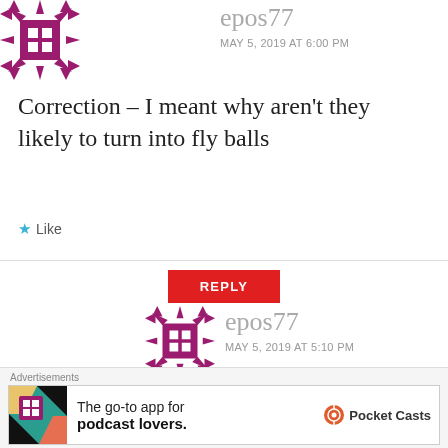epos77
MAY 5, 2019 AT 6:00 PM
Correction – I meant why aren't they likely to turn into fly balls
Like
REPLY
[Figure (logo): epos77 avatar icon – purple geometric snowflake/grid pattern]
epos77
MAY 5, 2019 AT 5:10 PM
Of course his BABIP and
Advertisements
The go-to app for podcast lovers.